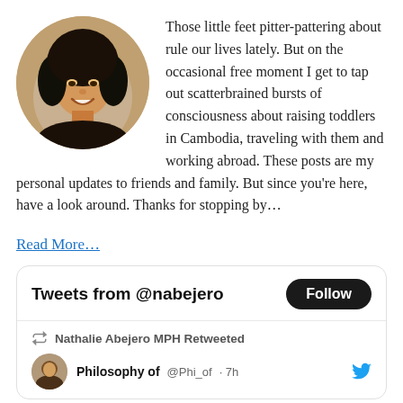[Figure (photo): Circular profile photo of a young Southeast Asian woman smiling, with dark hair, wearing a dark top.]
Those little feet pitter-pattering about rule our lives lately. But on the occasional free moment I get to tap out scatterbrained bursts of consciousness about raising toddlers in Cambodia, traveling with them and working abroad. These posts are my personal updates to friends and family. But since you're here, have a look around. Thanks for stopping by…
Read More…
Tweets from @nabejero
Nathalie Abejero MPH Retweeted
Philosophy of   @Phi_of   · 7h